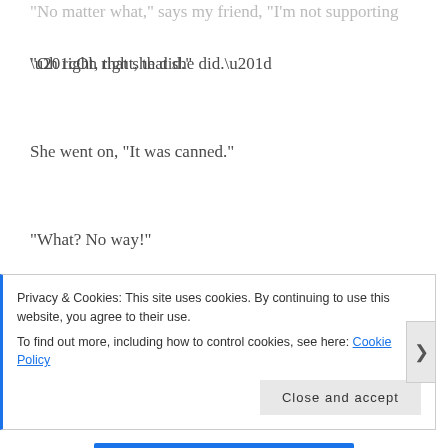“Oh right, that she did.”
She went on, “It was canned.”
“What? No way!”
“I think it was pre-recorded.”
“Wow, I hadn’t even considered that.”
“No matter what,” says my friend, “I’m not supporting
Privacy & Cookies: This site uses cookies. By continuing to use this website, you agree to their use.
To find out more, including how to control cookies, see here: Cookie Policy
Close and accept